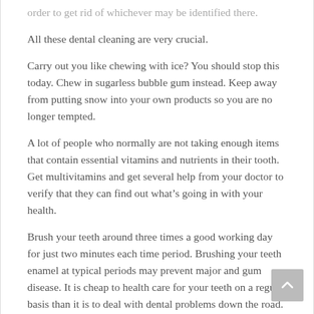order to get rid of whichever may be identified there.
All these dental cleaning are very crucial.
Carry out you like chewing with ice? You should stop this today. Chew in sugarless bubble gum instead. Keep away from putting snow into your own products so you are no longer tempted.
A lot of people who normally are not taking enough items that contain essential vitamins and nutrients in their tooth. Get multivitamins and get several help from your doctor to verify that they can find out what’s going in with your health.
Brush your teeth around three times a good working day for just two minutes each time period. Brushing your teeth enamel at typical periods may prevent major and gum disease. It is cheap to health care for your teeth on a regular basis than it is to deal with dental problems down the road.